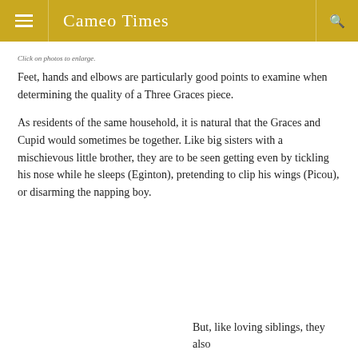Cameo Times
Click on photos to enlarge.
Feet, hands and elbows are particularly good points to examine when determining the quality of a Three Graces piece.
As residents of the same household, it is natural that the Graces and Cupid would sometimes be together. Like big sisters with a mischievous little brother, they are to be seen getting even by tickling his nose while he sleeps (Eginton), pretending to clip his wings (Picou), or disarming the napping boy.
But, like loving siblings, they also